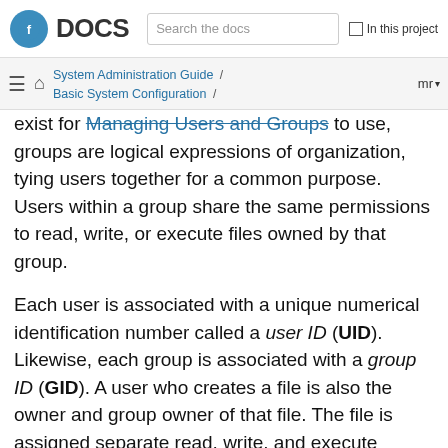Fedora DOCS — Search the docs — In this project
System Administration Guide / Basic System Configuration / Managing Users and Groups — mr
exist for Managing Users and Groups to use, groups are logical expressions of organization, tying users together for a common purpose. Users within a group share the same permissions to read, write, or execute files owned by that group.
Each user is associated with a unique numerical identification number called a user ID (UID). Likewise, each group is associated with a group ID (GID). A user who creates a file is also the owner and group owner of that file. The file is assigned separate read, write, and execute permissions for the owner, the group, and everyone else. The file